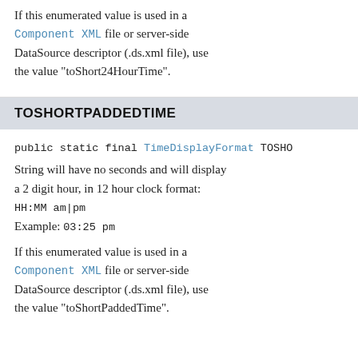If this enumerated value is used in a Component XML file or server-side DataSource descriptor (.ds.xml file), use the value "toShort24HourTime".
TOSHORTPADDEDTIME
public static final TimeDisplayFormat TOSHO...
String will have no seconds and will display a 2 digit hour, in 12 hour clock format: HH:MM am|pm Example: 03:25 pm
If this enumerated value is used in a Component XML file or server-side DataSource descriptor (.ds.xml file), use the value "toShortPaddedTime".